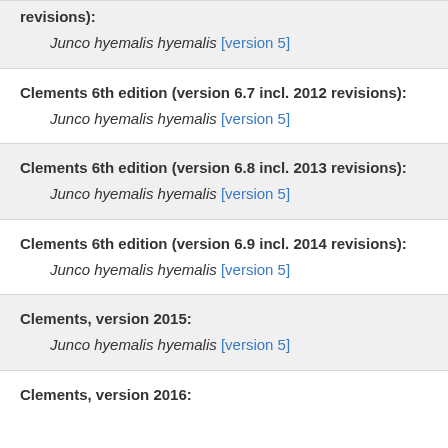revisions): Junco hyemalis hyemalis [version 5]
Clements 6th edition (version 6.7 incl. 2012 revisions):
Junco hyemalis hyemalis [version 5]
Clements 6th edition (version 6.8 incl. 2013 revisions):
Junco hyemalis hyemalis [version 5]
Clements 6th edition (version 6.9 incl. 2014 revisions):
Junco hyemalis hyemalis [version 5]
Clements, version 2015:
Junco hyemalis hyemalis [version 5]
Clements, version 2016: